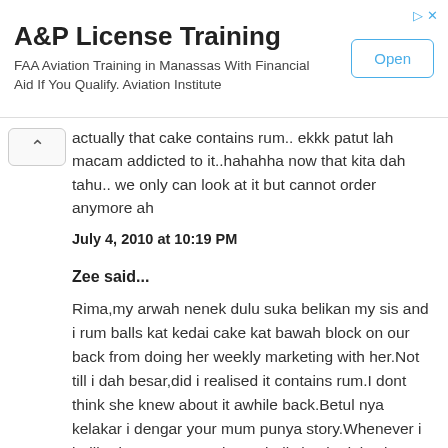[Figure (other): Advertisement banner for A&P License Training. Title: 'A&P License Training'. Subtitle: 'FAA Aviation Training in Manassas With Financial Aid If You Qualify. Aviation Institute'. Has an 'Open' button on the right.]
actually that cake contains rum.. ekkk patut lah macam addicted to it..hahahha now that kita dah tahu.. we only can look at it but cannot order anymore ah
July 4, 2010 at 10:19 PM
Zee said...
Rima,my arwah nenek dulu suka belikan my sis and i rum balls kat kedai cake kat bawah block on our back from doing her weekly marketing with her.Not till i dah besar,did i realised it contains rum.I dont think she knew about it awhile back.Betul nya kelakar i dengar your mum punya story.Whenever i balik Singapore tengok rum balls kat kedai cake cuma boleh drool aje.
Memang betul,orang dulu dulu super advanterous,jgn cakap rum balls,chocolates containing alcohol pun dorang bedal and sumbat the little us,kesian dorang tak tahu.I will have to try your rum balls recipe.Kempunan i